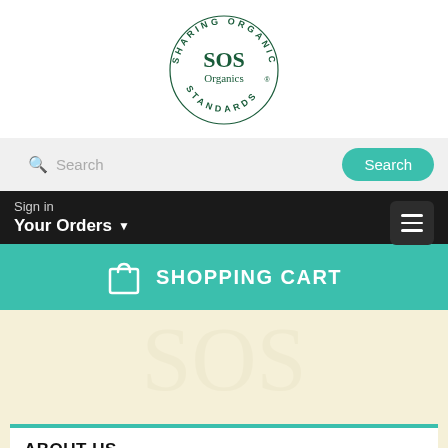[Figure (logo): SOS Organics circular logo with text 'SHARING ORGANIC STANDARDS' around the perimeter and 'SOS Organics' in the center]
[Figure (screenshot): Search bar with magnifying glass icon and placeholder text 'Search', and a teal 'Search' button on the right]
[Figure (screenshot): Dark navigation bar with 'Sign in', 'Your Orders' dropdown, hamburger menu icon, and teal 'SHOPPING CART' button with bag icon]
[Figure (photo): Cream/beige background section with watermark-style leaf/plant imagery]
ABOUT US
In an increasingly polluted urban environment, where our